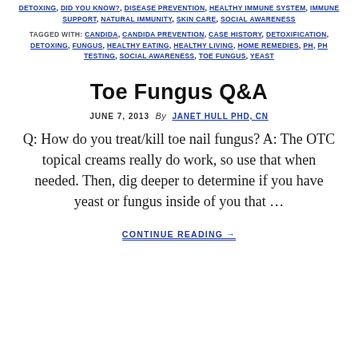DETOXING, DID YOU KNOW?, DISEASE PREVENTION, HEALTHY IMMUNE SYSTEM, IMMUNE SUPPORT, NATURAL IMMUNITY, SKIN CARE, SOCIAL AWARENESS
TAGGED WITH: CANDIDA, CANDIDA PREVENTION, CASE HISTORY, DETOXIFICATION, DETOXING, FUNGUS, HEALTHY EATING, HEALTHY LIVING, HOME REMEDIES, PH, PH TESTING, SOCIAL AWARENESS, TOE FUNGUS, YEAST
Toe Fungus Q&A
JUNE 7, 2013 By JANET HULL PHD, CN
Q: How do you treat/kill toe nail fungus? A: The OTC topical creams really do work, so use that when needed. Then, dig deeper to determine if you have yeast or fungus inside of you that …
CONTINUE READING →